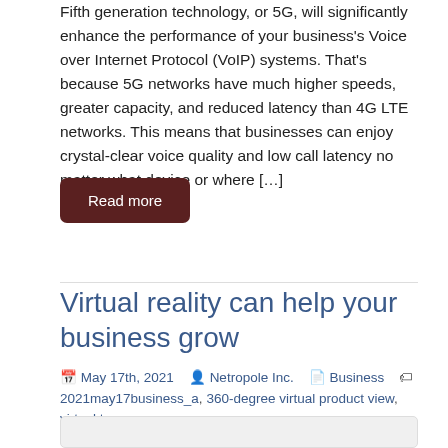Fifth generation technology, or 5G, will significantly enhance the performance of your business's Voice over Internet Protocol (VoIP) systems. That's because 5G networks have much higher speeds, greater capacity, and reduced latency than 4G LTE networks. This means that businesses can enjoy crystal-clear voice quality and low call latency no matter what device or where […]
Read more
Virtual reality can help your business grow
May 17th, 2021   Netropole Inc.   Business   2021may17business_a, 360-degree virtual product view, virtual tours, vr, vr prototypes, vr simulation, vr tours, vr training
[Figure (photo): Partial image of a person at the bottom of the page, partially cropped, with a light gray background.]